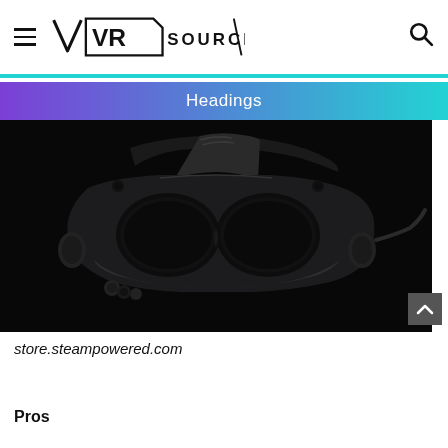VR SOURCE
Headings
[Figure (photo): A VR headset (Valve Index or similar) photographed against a black background, showing the front visor, head strap, and integrated speakers.]
store.steampowered.com
Pros